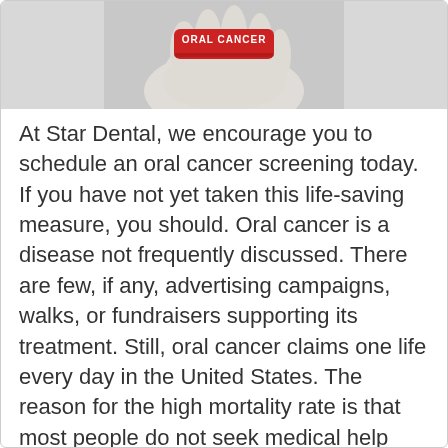[Figure (photo): A hand holding a red pill/badge with white text reading 'ORAL CANCER' against a grey background.]
At Star Dental, we encourage you to schedule an oral cancer screening today. If you have not yet taken this life-saving measure, you should. Oral cancer is a disease not frequently discussed. There are few, if any, advertising campaigns, walks, or fundraisers supporting its treatment. Still, oral cancer claims one life every day in the United States. The reason for the high mortality rate is that most people do not seek medical help until the cancer has advanced. As with all forms of cancer, early detection and treatment are critical to the ability to be cured. Therefore, the sooner you know that you are at risk for cancer or are developing signs of it, the better your chances are of beating it.